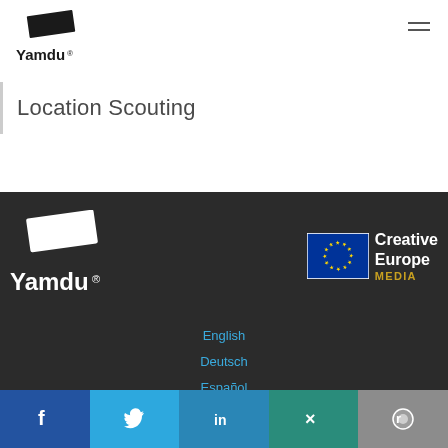[Figure (logo): Yamdu logo in black with rectangular shape above text]
Location Scouting
[Figure (logo): Yamdu logo in white on dark background footer]
[Figure (logo): Creative Europe MEDIA logo with EU flag]
English
Deutsch
Español
Facebook Twitter LinkedIn Xing Reddit social share bar